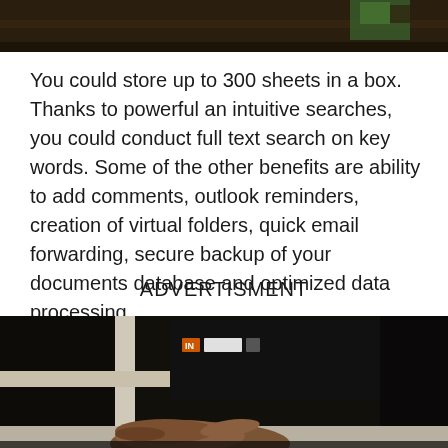[Figure (photo): Partial photo at top of page showing a dark wooden surface with a green object in the upper right corner]
You could store up to 300 sheets in a box. Thanks to powerful an intuitive searches, you could conduct full text search on key words. Some of the other benefits are ability to add comments, outlook reminders, creation of virtual folders, quick email forwarding, secure backup of your documents database and optimized data processing.
ADVERTISMENT
[Figure (photo): Photo of a person's hand near a black binder or device on a white shelf, with an orange label and text 'IN' visible on the black device]